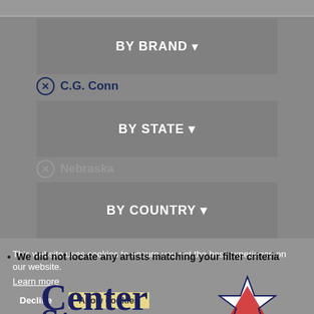BY BRAND ▾
⊗ C.G. Conn
BY STATE ▾
⊗ Nebraska
BY COUNTRY ▾
We did not locate any artists matching your filter criteria
This website uses cookies to ensure you get the best experience on our website.
Learn more
[Figure (logo): Center Stage logo with star graphic in navy blue and red]